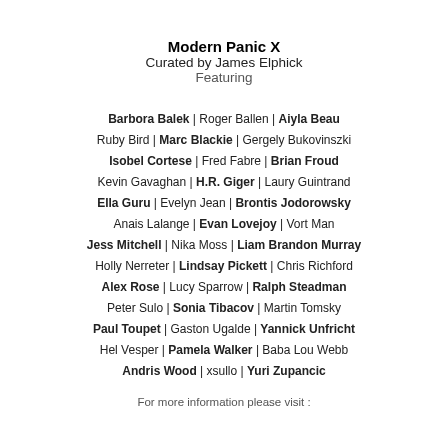Modern Panic X
Curated by James Elphick
Featuring
Barbora Balek | Roger Ballen | Aiyla Beau
Ruby Bird | Marc Blackie | Gergely Bukovinszki
Isobel Cortese | Fred Fabre | Brian Froud
Kevin Gavaghan | H.R. Giger | Laury Guintrand
Ella Guru | Evelyn Jean | Brontis Jodorowsky
Anais Lalange | Evan Lovejoy | Vort Man
Jess Mitchell | Nika Moss | Liam Brandon Murray
Holly Nerreter | Lindsay Pickett | Chris Richford
Alex Rose | Lucy Sparrow | Ralph Steadman
Peter Sulo | Sonia Tibacov | Martin Tomsky
Paul Toupet | Gaston Ugalde | Yannick Unfricht
Hel Vesper | Pamela Walker | Baba Lou Webb
Andris Wood | xsullo | Yuri Zupancic
For more information please visit :